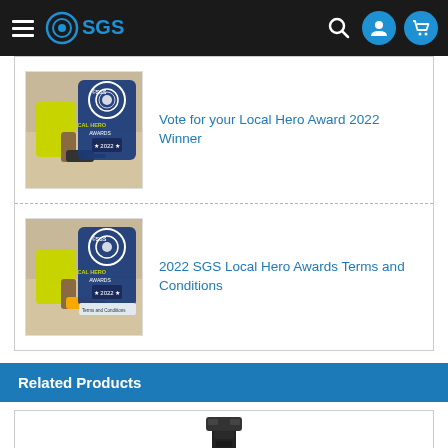[Figure (screenshot): SGS website navigation bar with hamburger menu, SGS logo, search icon, user icon, and cart icon on dark background]
Vote for your Local Hero Award 2022 Winner
2022 SGS Local Hero Awards Terms and Conditions
Related Products
[Figure (photo): Partial product image visible at bottom of page]